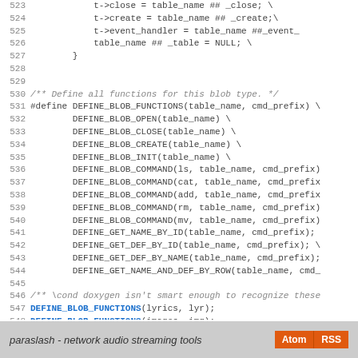Source code listing lines 523-551 showing C preprocessor macros for blob functions
paraslash - network audio streaming tools  Atom  RSS